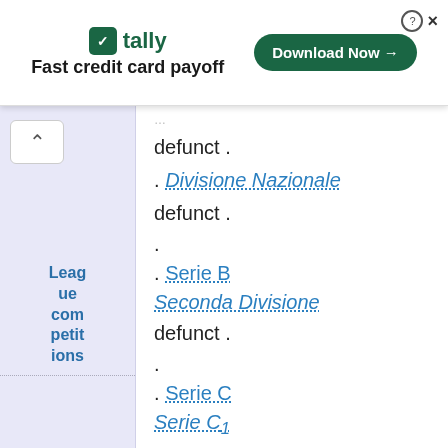[Figure (screenshot): Tally app advertisement banner: logo, 'Fast credit card payoff' tagline, 'Download Now' button]
defunct .
. Divisione Nazionale
defunct .
.
. Serie B
Seconda Divisione
defunct .
.
. Serie C
Serie C1
defunct .
League competitions